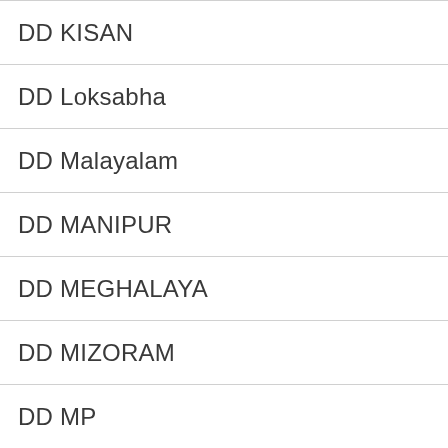DD KISAN
DD Loksabha
DD Malayalam
DD MANIPUR
DD MEGHALAYA
DD MIZORAM
DD MP